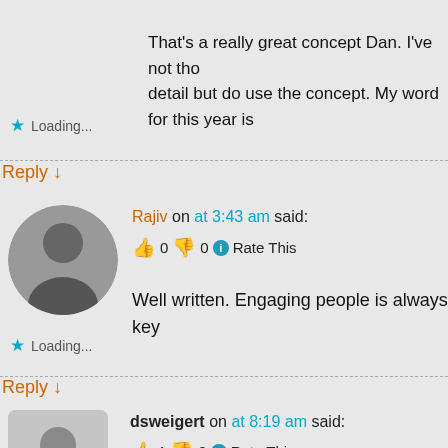That's a really great concept Dan. I've not tho detail but do use the concept. My word for this year is
Loading...
Reply ↓
Rajiv on at 3:43 am said:
👍 0 👎 0 ℹ Rate This
Well written. Engaging people is always key
Loading...
Reply ↓
dsweigert on at 8:19 am said:
👍 1 👎 0 ℹ Rate This
Dan,
Great article. My word for 2016, and one that I'd like to